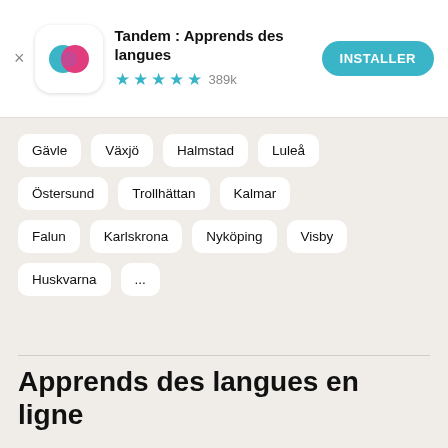[Figure (screenshot): Tandem app banner with icon, title, star rating and install button]
Gävle
Växjö
Halmstad
Luleå
Östersund
Trollhättan
Kalmar
Falun
Karlskrona
Nyköping
Visby
Huskvarna
...
Apprends des langues en ligne